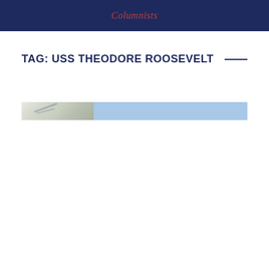Columnists
TAG: USS THEODORE ROOSEVELT
[Figure (photo): A horizontal banner image showing a partial view of what appears to be a naval vessel or related scene on the left side (light colored, marble-like texture) transitioning to a light blue section on the right.]